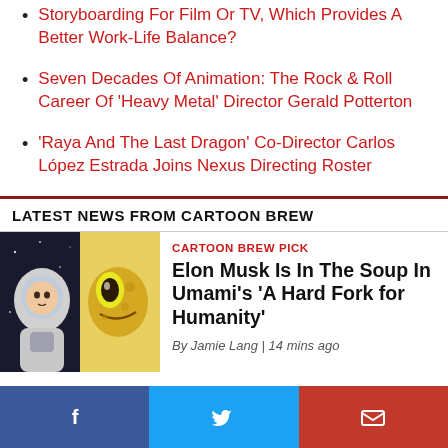Storyboarding For Film Or TV, Which Provides A Better Work-Life Balance?
Seven Decades Of Animation: The Rock & Roll Career Of 'Heavy Metal' Director Gerald Potterton
'Raya And The Last Dragon' Co-Director Carlos López Estrada Joins Nexus Directing Roster
LATEST NEWS FROM CARTOON BREW
CARTOON BREW PICK
Elon Musk Is In The Soup In Umami's 'A Hard Fork for Humanity'
By Jamie Lang | 14 mins ago
[Figure (photo): Illustrated image showing a person in a space suit on the left and a cartoon alien character on the right]
[Figure (infographic): Social media share bar with Facebook, Twitter, and email icons]